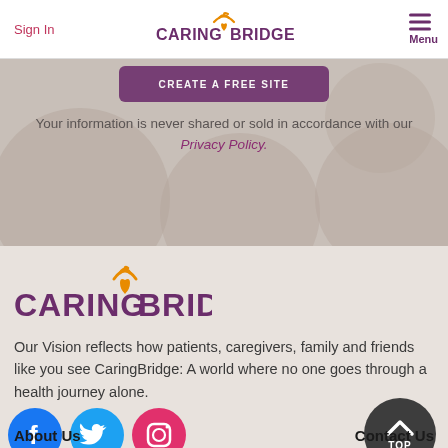Sign In | CARING BRIDGE. | Menu
Your information is never shared or sold in accordance with our Privacy Policy.
[Figure (logo): CaringBridge logo with orange wifi/signal arcs above an orange heart between CARING and BRIDGE in purple bold text with a period]
Our Vision reflects how patients, caregivers, family and friends like you see CaringBridge: A world where no one goes through a health journey alone.
[Figure (infographic): Row of three social media icons: Facebook (blue circle with f), Twitter (teal circle with bird), Instagram (pink circle with camera icon), and a dark circular back-to-top button with chevron up and 'TOP' text]
About Us
Contact Us